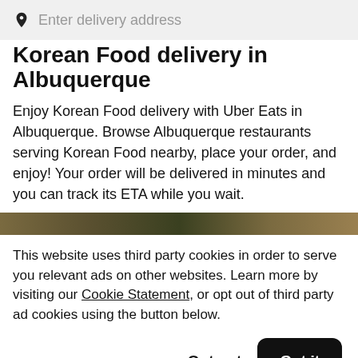Enter delivery address
Korean Food delivery in Albuquerque
Enjoy Korean Food delivery with Uber Eats in Albuquerque. Browse Albuquerque restaurants serving Korean Food nearby, place your order, and enjoy! Your order will be delivered in minutes and you can track its ETA while you wait.
[Figure (photo): Partial strip of food photography images]
This website uses third party cookies in order to serve you relevant ads on other websites. Learn more by visiting our Cookie Statement, or opt out of third party ad cookies using the button below.
Opt out  Got it